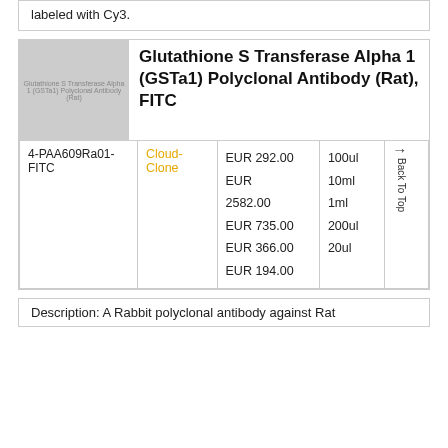labeled with Cy3.
[Figure (photo): Product image placeholder for Glutathione S Transferase Alpha 1 (GSTa1) Polyclonal Antibody]
Glutathione S Transferase Alpha 1 (GSTa1) Polyclonal Antibody (Rat), FITC
| Catalog | Supplier | Price | Volume |
| --- | --- | --- | --- |
| 4-PAA609Ra01-FITC | Cloud-Clone | EUR 292.00
EUR 2582.00
EUR 735.00
EUR 366.00
EUR 194.00 | 100ul
10ml
1ml
200ul
20ul |
Description: A Rabbit polyclonal antibody against Rat